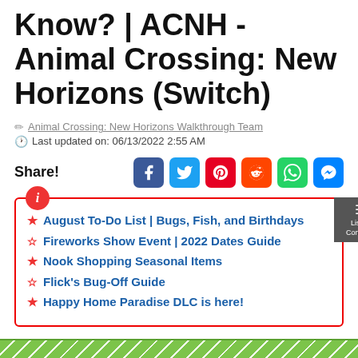Know? | ACNH - Animal Crossing: New Horizons (Switch)
Animal Crossing: New Horizons Walkthrough Team
Last updated on: 06/13/2022 2:55 AM
Share!
August To-Do List | Bugs, Fish, and Birthdays
Fireworks Show Event | 2022 Dates Guide
Nook Shopping Seasonal Items
Flick's Bug-Off Guide
Happy Home Paradise DLC is here!